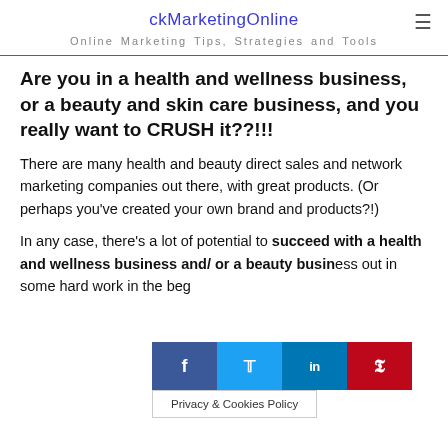ckMarketingOnline
Online Marketing Tips, Strategies and Tools
Are you in a health and wellness business, or a beauty and skin care business, and you really want to CRUSH it??!!!
There are many health and beauty direct sales and network marketing companies out there, with great products. (Or perhaps you've created your own brand and products?!)
In any case, there's a lot of potential to succeed with a health and wellness business and/ or a beauty business, but in some hard work in the beg...
[Figure (infographic): Social share bar with Facebook, Twitter, LinkedIn, and Pinterest buttons, and a Privacy & Cookies Policy tooltip below]
Privacy & Cookies Policy